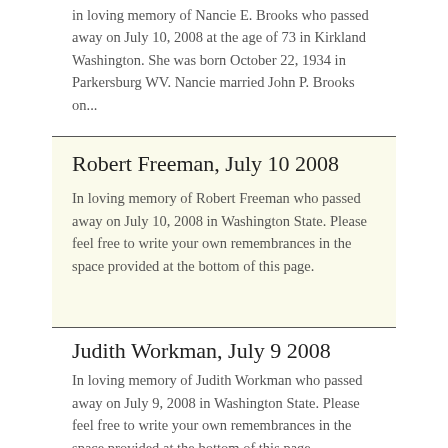in loving memory of Nancie E. Brooks who passed away on July 10, 2008 at the age of 73 in Kirkland Washington. She was born October 22, 1934 in Parkersburg WV. Nancie married John P. Brooks on...
Robert Freeman, July 10 2008
In loving memory of Robert Freeman who passed away on July 10, 2008 in Washington State. Please feel free to write your own remembrances in the space provided at the bottom of this page.
Judith Workman, July 9 2008
In loving memory of Judith Workman who passed away on July 9, 2008 in Washington State. Please feel free to write your own remembrances in the space provided at the bottom of this page.